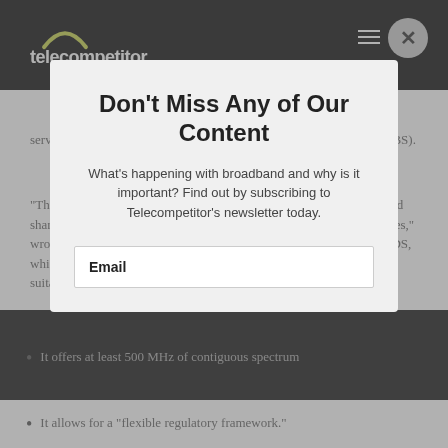telecompetitor
service on a co-primary shared basis with direct broadcast satellite (DBS).
“The 12.2-12.7 band is ideally suited to be made available for increased sharing with existing DBS services to allow new use for the 5G services,” wrote the MVDDS/5G Coalition in a petition to the FCC about MVDDS, which meets all of the criteria the FCC plans to use in evaluating the suitability of spectrum for 5G use, including:
Don’t Miss Any of Our Content
What’s happening with broadband and why is it important? Find out by subscribing to Telecompetitor’s newsletter today.
Email
It offers at least 500 MHz of contiguous spectrum
It allows for a “flexible regulatory framework.”